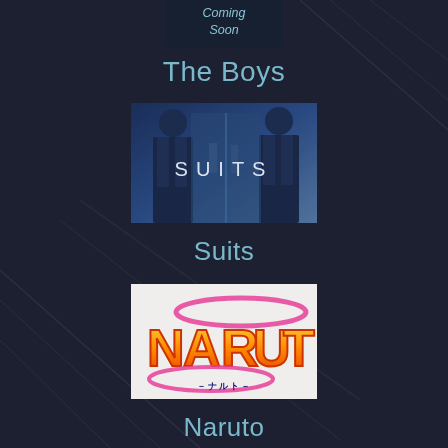Coming Soon
The Boys
[Figure (illustration): Dark blue-toned image showing two figures from behind in suits standing before glass doors, with SUITS text overlaid in white letters]
Suits
[Figure (logo): NARUTO logo in orange and yellow gradient letters with pink swoosh design and Japanese subtitle text on white background]
Naruto